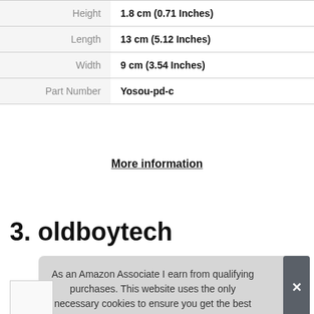|  |  |
| --- | --- |
| Height | 1.8 cm (0.71 Inches) |
| Length | 13 cm (5.12 Inches) |
| Width | 9 cm (3.54 Inches) |
| Part Number | Yosou-pd-c |
More information
3. oldboytech
As an Amazon Associate I earn from qualifying purchases. This website uses the only necessary cookies to ensure you get the best experience on our website. More information